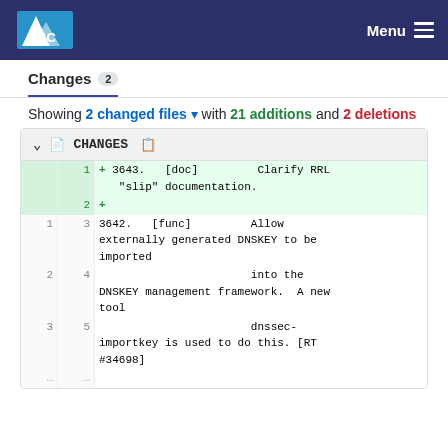ISC — Menu
Changes 2
Showing 2 changed files with 21 additions and 2 deletions
| old | new | code |
| --- | --- | --- |
|  | 1 | + 3643.   [doc]         Clarify RRL "slip" documentation. |
|  | 2 | + |
| 1 | 3 | 3642.   [func]         Allow externally generated DNSKEY to be imported |
| 2 | 4 |                        into the DNSKEY management framework.  A new tool |
| 3 | 5 |                        dnssec-importkey is used to do this. [RT #34698] |